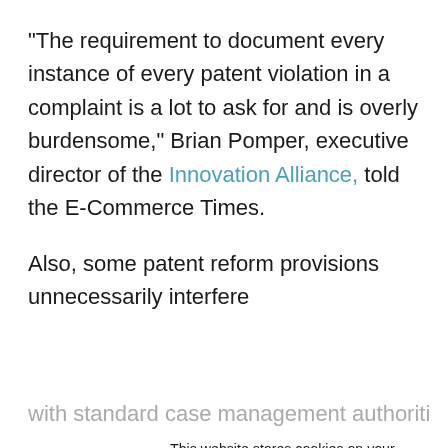“The requirement to document every instance of every patent violation in a complaint is a lot to ask for and is overly burdensome,” Brian Pomper, executive director of the Innovation Alliance, told the E-Commerce Times.

Also, some patent reform provisions unnecessarily interfere with standard case management authorities exercised by
This website stores cookies on your computer. These cookies are used to collect information about how you interact with our website and allow us to remember you. We use this information in order to improve and customize your browsing experience and for analytics and metrics about our visitors both on this website and other media. To find out more about the cookies we use, see our Privacy Policy. California residents have the right to direct us not to sell their personal information to third parties by filing an Opt-Out Request: Do Not Sell My Personal Info.